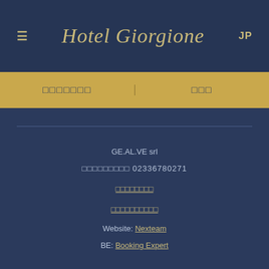Hotel Giorgione — JP
□□□□□□□  |  □□□
GE.AL.VE srl
□□□□□□□□□ 02336780271
□□□□□□□□
□□□□□□□□□□
Website: Nexteam
BE: Booking Expert